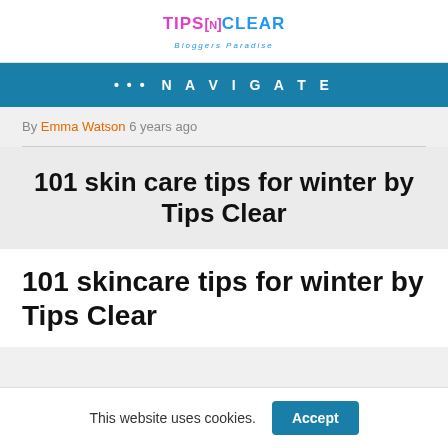TIPS N CLEAR Bloggers Paradise
• • •  N A V I G A T E
By Emma Watson 6 years ago
101 skin care tips for winter by Tips Clear
101 skincare tips for winter by Tips Clear
This website uses cookies.